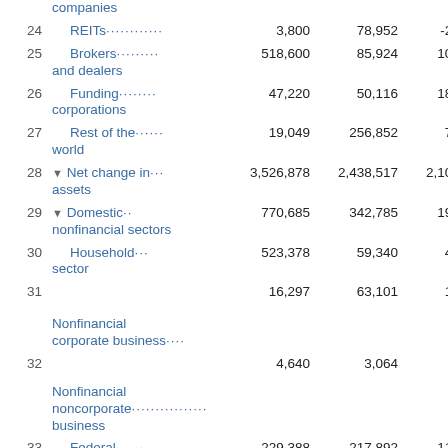| # | Category | Col1 | Col2 | Col3 |
| --- | --- | --- | --- | --- |
|  | companies |  |  |  |
| 24 | REITs | 3,800 | 78,952 | -21,880 |
| 25 | Brokers and dealers | 518,600 | 85,924 | 108,360 |
| 26 | Funding corporations | 47,220 | 50,116 | 180,508 |
| 27 | Rest of the world | 19,049 | 256,852 | 72,760 |
| 28 | ▼ Net change in assets | 3,526,878 | 2,438,517 | 2,109,170 |
| 29 | ▼ Domestic nonfinancial sectors | 770,685 | 342,785 | 190,358 |
| 30 | Household sector | 523,378 | 59,340 | 45,104 |
| 31 | Nonfinancial corporate business | 16,297 | 63,101 | 18,855 |
| 32 | Nonfinancial noncorporate business | 4,640 | 3,064 | 6,104 |
| 33 | Federal government | 229,388 | 217,892 | 112,667 |
| 34 | State and local governments | -3,018 | -612 | 7,628 |